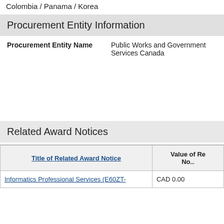Colombia / Panama / Korea
Procurement Entity Information
| Procurement Entity Name |  |
| --- | --- |
| Procurement Entity Name | Public Works and Government Services Canada |
Related Award Notices
| Title of Related Award Notice | Value of Re... No... |
| --- | --- |
| Informatics Professional Services (E60ZT-... | CAD 0.00 |